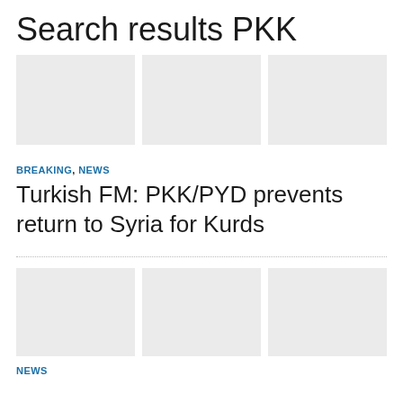Search results PKK
[Figure (photo): Three image placeholders arranged in a horizontal strip for the first article]
BREAKING , NEWS
Turkish FM: PKK/PYD prevents return to Syria for Kurds
[Figure (photo): Three image placeholders arranged in a horizontal strip for the second article]
NEWS